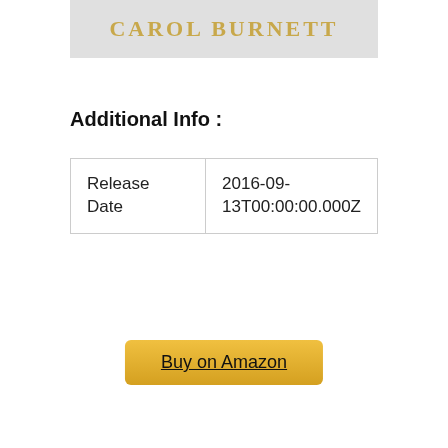[Figure (illustration): Book cover partial showing author name CAROL BURNETT in gold serif letters on a light gray background]
Additional Info :
| Release Date | 2016-09-13T00:00:00.000Z |
Buy on Amazon
Buying Guide To Choose The Best